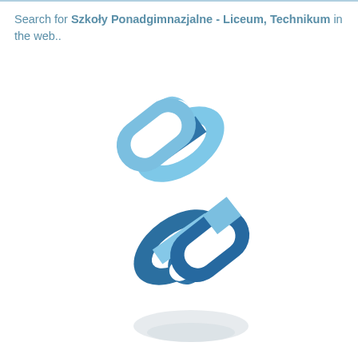Search for Szkoły Ponadgimnazjalne - Liceum, Technikum in the web..
[Figure (logo): A chain link icon composed of two interlocking oval chain links. The upper-right link is light blue, the lower-left link is dark blue. The icon is rotated diagonally and has a faint reflection below it.]